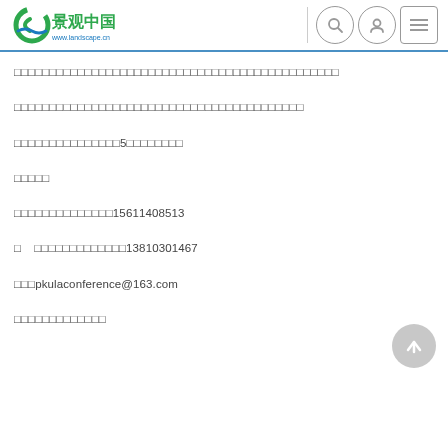景观中国 www.landscape.cn
□□□□□□□□□□□□□□□□□□□□□□□□□□□□□□□□□□□□□□□□□□□□□□
□□□□□□□□□□□□□□□□□□□□□□□□□□□□□□□□□□□□□□□□
□□□□□□□□□□□□□□□5□□□□□□□□
□□□□□
□□□□□□□□□□□□□□15611408513
□    □□□□□□□□□□□□□13810301467
□□□pkulaconference@163.com
□□□□□□□□□□□□□